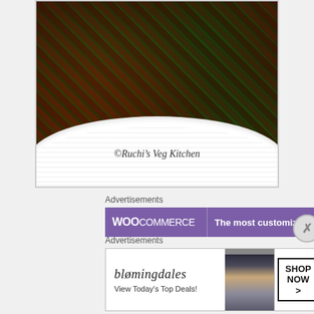[Figure (photo): Close-up photo of okra sabzi (Indian spiced okra dish) in a white ribbed oval dish, with watermark text '© Ruchi's Veg Kitchen' on the dish rim]
Advertisements
[Figure (other): WooCommerce advertisement banner with purple background. Left: WooCommerce logo in white. Right: 'The most customizable' text in white.]
Advertisements
[Figure (other): Bloomingdales advertisement banner showing logo 'bloomingdales', a woman in a wide-brim hat, 'View Today's Top Deals!' text, and a 'SHOP NOW >' button.]